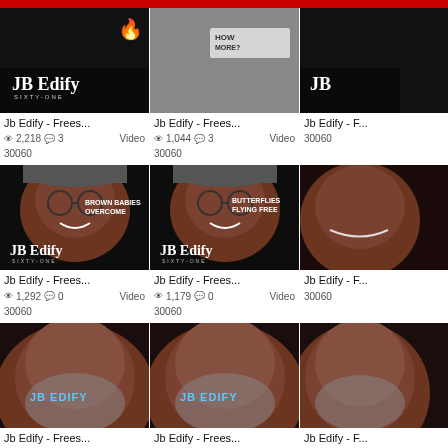[Figure (screenshot): Video listing grid showing 'JB Edify' channel thumbnails. Row 1: three video thumbnails with view counts and metadata. Row 2: three video thumbnails. Row 3: three video thumbnails. Each card shows thumbnail image, truncated title 'Jb Edify - Frees...', view count, comment count, category '30060', and type 'Video'.]
Jb Edify - Frees... 2,218 views, 3 comments, 30060, Video
Jb Edify - Frees... 1,044 views, 3 comments, 30060, Video
Jb Edify - F... 30060
Jb Edify - Frees... 1,292 views, 0 comments, 30060, Video
Jb Edify - Frees... 1,179 views, 0 comments, 30060, Video
Jb Edify - F... 30060
Jb Edify - Frees... 1,568 views, 0 comments, 30060, Video
Jb Edify - Frees... 1,739 views, 0 comments, 30060, Video
Jb Edify - F... 30060